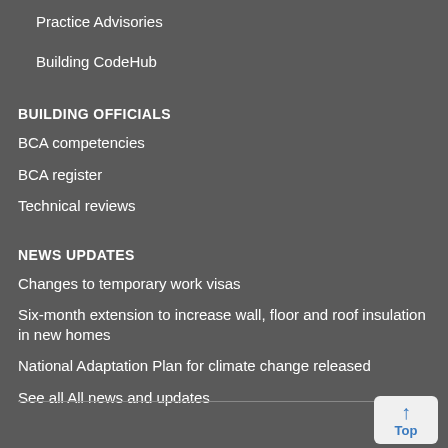Practice Advisories
Building CodeHub
BUILDING OFFICIALS
BCA competencies
BCA register
Technical reviews
NEWS UPDATES
Changes to temporary work visas
Six-month extension to increase wall, floor and roof insulation in new homes
National Adaptation Plan for climate change released
See all All news and updates